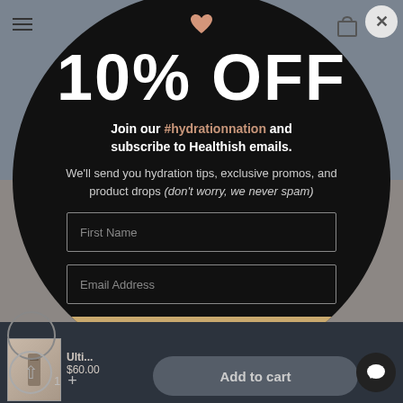[Figure (screenshot): Mobile e-commerce website screenshot showing a circular popup modal over a product page. The modal has a black circular background with a pink heart icon at top, large '10% OFF' text, subscription tagline mentioning #hydrationnation, body text about hydration tips and promos, two input fields (First Name, Email Address), and a gold JOIN NOW button. The background shows a navigation bar with hamburger menu and bag icon, and the bottom shows a product cart bar with Add to cart button.]